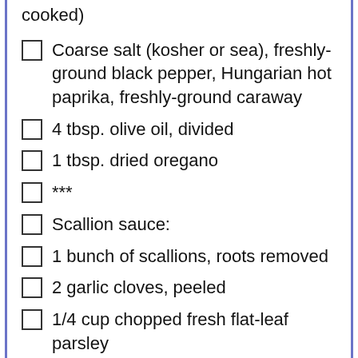cooked)
Coarse salt (kosher or sea), freshly-ground black pepper, Hungarian hot paprika, freshly-ground caraway
4 tbsp. olive oil, divided
1 tbsp. dried oregano
***
Scallion sauce:
1 bunch of scallions, roots removed
2 garlic cloves, peeled
1/4 cup chopped fresh flat-leaf parsley
Zest of 1 lemon